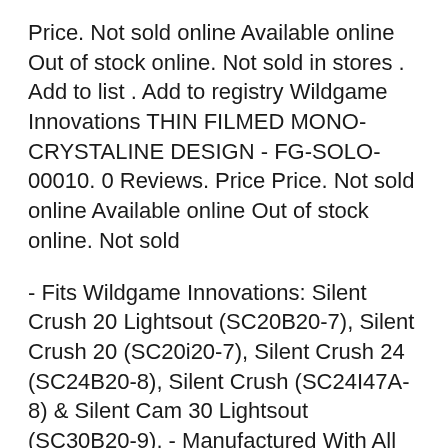Price. Not sold online Available online Out of stock online. Not sold in stores . Add to list . Add to registry Wildgame Innovations THIN FILMED MONO-CRYSTALINE DESIGN - FG-SOLO-00010. 0 Reviews. Price Price. Not sold online Available online Out of stock online. Not sold
- Fits Wildgame Innovations: Silent Crush 20 Lightsout (SC20B20-7), Silent Crush 20 (SC20i20-7), Silent Crush 24 (SC24B20-8), Silent Crush (SC24I47A-8) & Silent Cam 30 Lightsout (SC30B20-9). - Manufactured With All Steel Construction To Provide Exact Camera Fit. Wildgame Innovations SC20B20-7 Silent Crush Cam 20 Lights Out Trail